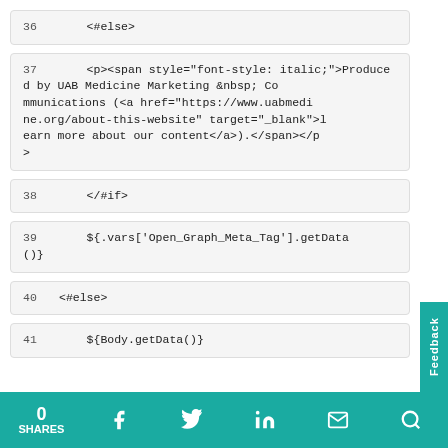36    <#else>
37    <p><span style="font-style: italic;">Produced by UAB Medicine Marketing &nbsp; Communications (<a href="https://www.uabmedicine.org/about-this-website" target="_blank">learn more about our content</a>).</span></p>
38    </#if>
39    ${.vars['Open_Graph_Meta_Tag'].getData()}
40<#else>
41    ${Body.getData()}
0 SHARES  Facebook  Twitter  LinkedIn  Email  Search  Feedback